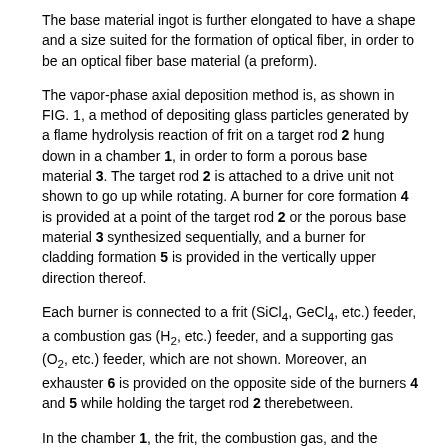The base material ingot is further elongated to have a shape and a size suited for the formation of optical fiber, in order to be an optical fiber base material (a preform).
The vapor-phase axial deposition method is, as shown in FIG. 1, a method of depositing glass particles generated by a flame hydrolysis reaction of frit on a target rod 2 hung down in a chamber 1, in order to form a porous base material 3. The target rod 2 is attached to a drive unit not shown to go up while rotating. A burner for core formation 4 is provided at a point of the target rod 2 or the porous base material 3 synthesized sequentially, and a burner for cladding formation 5 is provided in the vertically upper direction thereof.
Each burner is connected to a frit (SiCl4, GeCl4, etc.) feeder, a combustion gas (H2, etc.) feeder, and a supporting gas (O2, etc.) feeder, which are not shown. Moreover, an exhauster 6 is provided on the opposite side of the burners 4 and 5 while holding the target rod 2 therebetween.
In the chamber 1, the frit, the combustion gas, and the supporting gas are ejected from the burners 4 and 5 toward the target rod 2, the frit reacts to flames 7 and 8 by means of a flame hydrolysis reaction to generate glass particles, and the glass particles are deposited and attached on the target rod 2 to form the porous base material 3. The residual glass particles, which are not deposited and attached, are exhausted outside the system by the